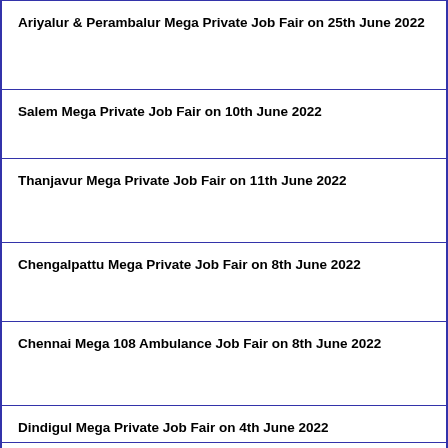Ariyalur & Perambalur Mega Private Job Fair on 25th June 2022
Salem Mega Private Job Fair on 10th June 2022
Thanjavur Mega Private Job Fair on 11th June 2022
Chengalpattu Mega Private Job Fair on 8th June 2022
Chennai Mega 108 Ambulance Job Fair on 8th June 2022
Dindigul Mega Private Job Fair on 4th June 2022